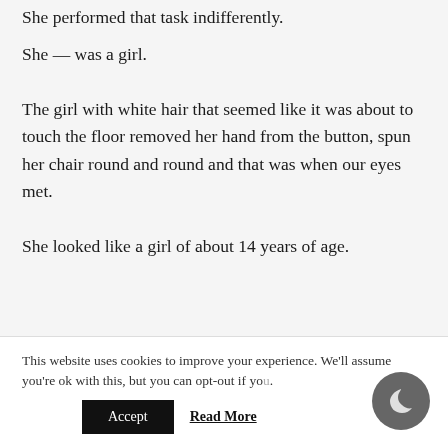She performed that task indifferently.
She — was a girl.
The girl with white hair that seemed like it was about to touch the floor removed her hand from the button, spun her chair round and round and that was when our eyes met.
She looked like a girl of about 14 years of age.
This website uses cookies to improve your experience. We'll assume you're ok with this, but you can opt-out if yo...
Accept
Read More